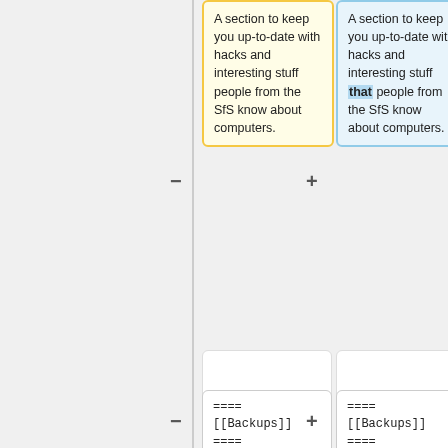A section to keep you up-to-date with hacks and interesting stuff people from the SfS know about computers.
A section to keep you up-to-date with hacks and interesting stuff that people from the SfS know about computers.
==== [[Backups]] ====
==== [[Backups]] ====
Everybody should do backups. If you don't, you will, eventually, but probably only until "after" you've learned your lesson. Hard. So [[Backups|here]]'s some resources we have gatherd and
Everybody should do backups. If you don't, you will, eventually, but probably only until "after" you've learned your lesson. Hard. So [[Backups|here]]'s some resources we have gathered and